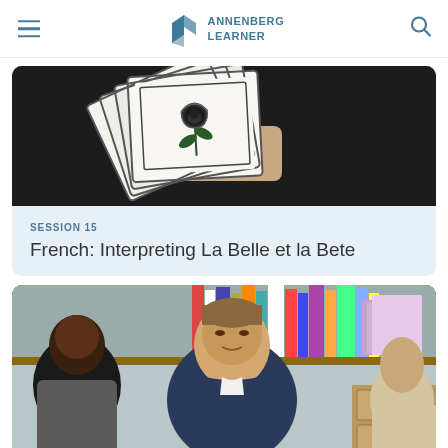ANNENBERG LEARNER
[Figure (photo): A hand holding several illustrated flashcards fanned out, showing drawings of a rose on white cards with dark borders, against a dark background.]
SESSION 15
French: Interpreting La Belle et la Bete
[Figure (photo): Two people sitting together at a desk or table in what appears to be a classroom or office setting. One person on the left has dark complexion and is wearing a gray jacket, and the other person in the center is a middle-aged man with short brown hair wearing a dark navy shirt, appearing to be speaking or explaining something. Shelves with books and papers are visible in the background.]